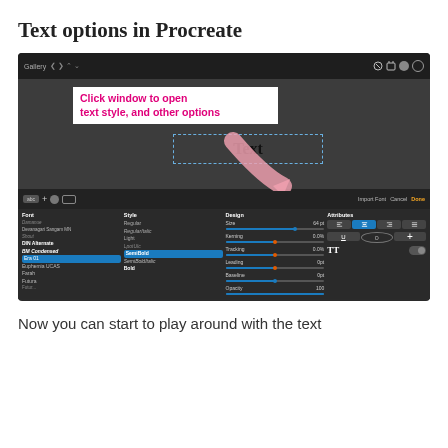Text options in Procreate
[Figure (screenshot): Screenshot of Procreate app showing text tool interface. Top portion shows canvas with a white annotation box containing magenta bold text 'Click window to open text style, and other options' with a pink arrow pointing to a text box containing 'Text'. Bottom portion shows the font panel with Font, Style, Design, and Attributes columns. Font column lists various fonts with 'Era 01' highlighted in blue. Style column shows Regular, RegularItalic, Light, LpLight, SemiBold (highlighted), SemiBoldItalic, Bold. Design column shows Size (64pt), Kerning (0.0%), Tracking (0.0%), Leading (0pt), Baseline (0pt), Opacity (100). Attributes column shows alignment buttons, U, O, plus icon, TT label with toggle.]
Now you can start to play around with the text